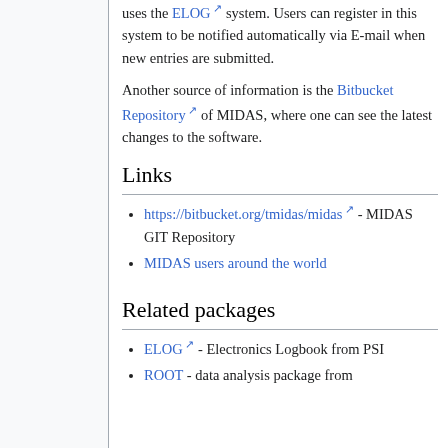uses the ELOG system. Users can register in this system to be notified automatically via E-mail when new entries are submitted.
Another source of information is the Bitbucket Repository of MIDAS, where one can see the latest changes to the software.
Links
https://bitbucket.org/tmidas/midas - MIDAS GIT Repository
MIDAS users around the world
Related packages
ELOG - Electronics Logbook from PSI
ROOT - data analysis package from